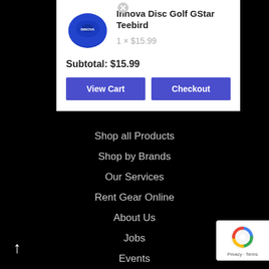[Figure (screenshot): Shopping cart popup showing Innova Disc Golf GStar Teebird product with blue disc image, quantity and price, subtotal, View Cart and Checkout buttons, followed by navigation links on dark background]
Innova Disc Golf GStar Teebird
1 × $15.99
Subtotal: $15.99
View Cart
Checkout
Shop all Products
Shop by Brands
Our Services
Rent Gear Online
About Us
Jobs
Events
Contact
Refunds & Returns Policy
Privacy Policy